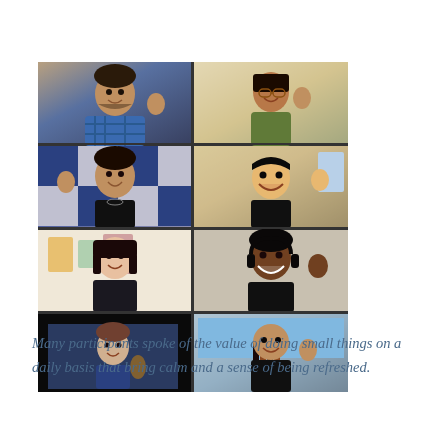[Figure (photo): A 2x4 grid of video call participants (Zoom-style), all making peace signs or waving. The image shows 7 people in a virtual meeting grid layout.]
Many participants spoke of the value of doing small things on a daily basis that bring calm and a sense of being refreshed.